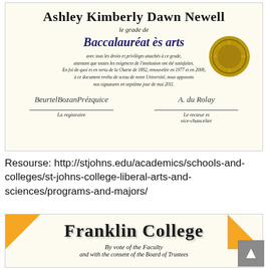[Figure (photo): Diploma certificate from St. John's University awarded to Ashley Kimberly Dawn Newell for Baccalauréat ès arts, dated seventh day of May 2011, with two signatures (La registraire and Le recteur et vice-chancelier) and a gold embossed seal on the right side.]
Resourse: http://stjohns.edu/academics/schools-and-colleges/st-johns-college-liberal-arts-and-sciences/programs-and-majors/
[Figure (photo): Franklin College diploma with orange corner decorations, showing 'Franklin College' in old English blackletter typeface, followed by 'By vote of the Faculty and with the consent of the Board of Trustees']